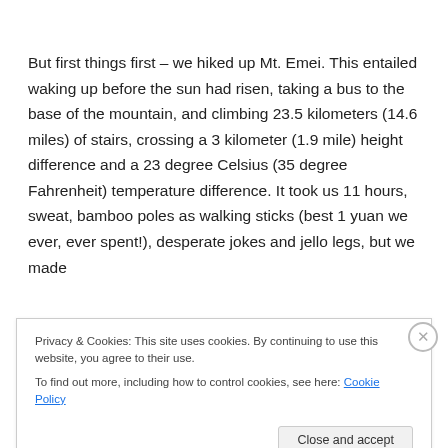But first things first – we hiked up Mt. Emei. This entailed waking up before the sun had risen, taking a bus to the base of the mountain, and climbing 23.5 kilometers (14.6 miles) of stairs, crossing a 3 kilometer (1.9 mile) height difference and a 23 degree Celsius (35 degree Fahrenheit) temperature difference. It took us 11 hours, sweat, bamboo poles as walking sticks (best 1 yuan we ever, ever spent!), desperate jokes and jello legs, but we made
Privacy & Cookies: This site uses cookies. By continuing to use this website, you agree to their use.
To find out more, including how to control cookies, see here: Cookie Policy